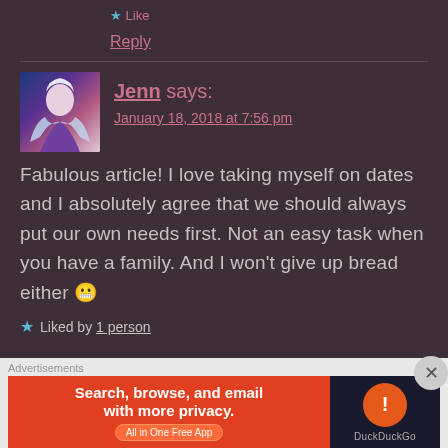Like
Reply
Jenn says:
January 18, 2018 at 7:56 pm
Fabulous article! I love taking myself on dates and I absolutely agree that we should always put our own needs first. Not an easy task when you have a family. And I won't give up bread either 😬
Liked by 1 person
[Figure (screenshot): DuckDuckGo advertisement banner: orange background with text 'Search, browse, and email with more privacy. All in One Free App' and DuckDuckGo logo on dark background]